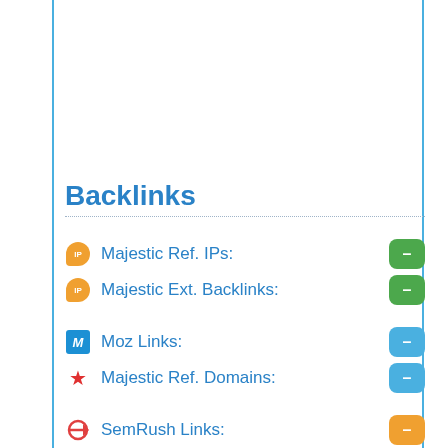Backlinks
Majestic Ref. IPs: -
Majestic Ext. Backlinks: -
Moz Links: -
Majestic Ref. Domains: -
SemRush Links: -
Alexa Backlink: 13